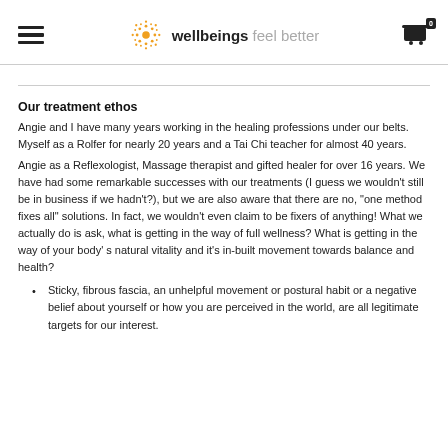wellbeings feel better
Our treatment ethos
Angie and I have many years working in the healing professions under our belts. Myself as a Rolfer for nearly 20 years and a Tai Chi teacher for almost 40 years.
Angie as a Reflexologist, Massage therapist and gifted healer for over 16 years. We have had some remarkable successes with our treatments (I guess we wouldn’t still be in business if we hadn’t?), but we are also aware that there are no, “one method fixes all” solutions. In fact, we wouldn’t even claim to be fixers of anything! What we actually do is ask, what is getting in the way of full wellness? What is getting in the way of your body’ s natural vitality and it’s in-built movement towards balance and health?
Sticky, fibrous fascia, an unhelpful movement or postural habit or a negative belief about yourself or how you are perceived in the world, are all legitimate targets for our interest.